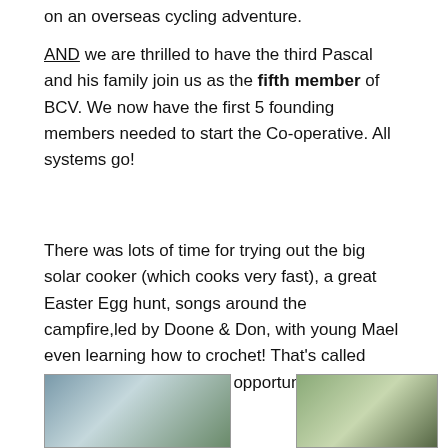on an overseas cycling adventure.
AND we are thrilled to have the third Pascal and his family join us as the fifth member of BCV. We now have the first 5 founding members needed to start the Co-operative. All systems go!
There was lots of time for trying out the big solar cooker (which cooks very fast), a great Easter Egg hunt, songs around the campfire,led by Doone & Don, with young Mael even learning how to crochet! That's called 'making the most of your opportunities.
[Figure (photo): Partial photo at bottom left, appears to show a vehicle or outdoor scene]
[Figure (photo): Partial photo at bottom right, appears to show trees or outdoor scene]